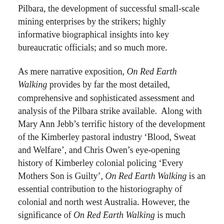Pilbara, the development of successful small-scale mining enterprises by the strikers; highly informative biographical insights into key bureaucratic officials; and so much more.
As mere narrative exposition, On Red Earth Walking provides by far the most detailed, comprehensive and sophisticated assessment and analysis of the Pilbara strike available.  Along with Mary Ann Jebb’s terrific history of the development of the Kimberley pastoral industry ‘Blood, Sweat and Welfare’, and Chris Owen’s eye-opening history of Kimberley colonial policing ‘Every Mothers Son is Guilty’, On Red Earth Walking is an essential contribution to the historiography of colonial and north west Australia.  However, the significance of On Red Earth Walking is much more than that.
Scrimgeour’s account of the strike opens portals to myriad issues of much more contemporary significance: how to identify the public interest in the face of private sector lobbying; the appropriate role of security services and use